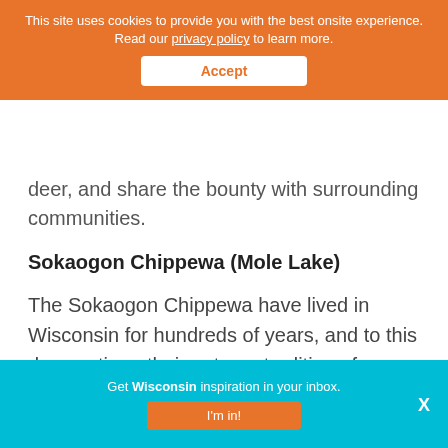This site uses cookies to provide you with the best onsite experience. Read our privacy policy to learn more. Accept
deer, and share the bounty with surrounding communities.
Sokaogon Chippewa (Mole Lake)
The Sokaogon Chippewa have lived in Wisconsin for hundreds of years, and to this day continue their autumn tradition of harvesting wild rice on Rice Lake, one of the remaining ancient wild rice beds in the state.
Get Wisconsin inspiration in your inbox. I'm in! X